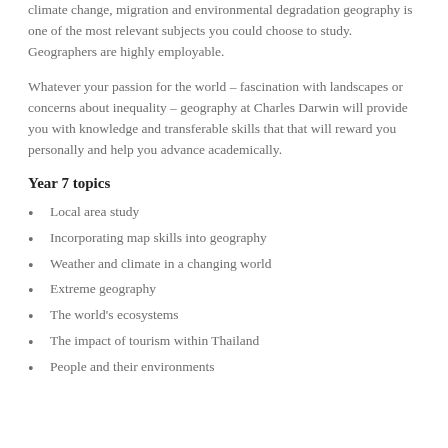climate change, migration and environmental degradation geography is one of the most relevant subjects you could choose to study. Geographers are highly employable.
Whatever your passion for the world – fascination with landscapes or concerns about inequality – geography at Charles Darwin will provide you with knowledge and transferable skills that that will reward you personally and help you advance academically.
Year 7 topics
Local area study
Incorporating map skills into geography
Weather and climate in a changing world
Extreme geography
The world's ecosystems
The impact of tourism within Thailand
People and their environments